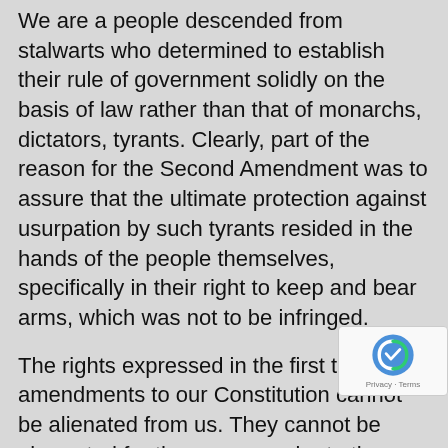We are a people descended from stalwarts who determined to establish their rule of government solidly on the basis of law rather than that of monarchs, dictators, tyrants. Clearly, part of the reason for the Second Amendment was to assure that the ultimate protection against usurpation by such tyrants resided in the hands of the people themselves, specifically in their right to keep and bear arms, which was not to be infringed.
The rights expressed in the first ten amendments to our Constitution cannot be alienated from us. They cannot be abrogated for they are superior to the people themselves, emanating as they do form the Creator. And so they are also superior to government, which is inferior to the people who ordained it.
That government which pretends to mitigate our rights has no legal standing from which to
The Bill of Rights does not establish those rights